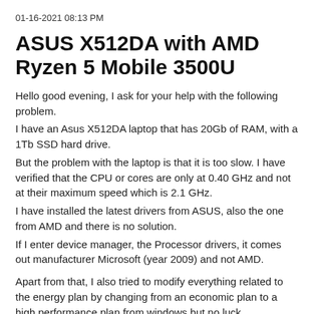01-16-2021 08:13 PM
ASUS X512DA with AMD Ryzen 5 Mobile 3500U
Hello good evening, I ask for your help with the following problem.
I have an Asus X512DA laptop that has 20Gb of RAM, with a 1Tb SSD hard drive.
But the problem with the laptop is that it is too slow. I have verified that the CPU or cores are only at 0.40 GHz and not at their maximum speed which is 2.1 GHz.
I have installed the latest drivers from ASUS, also the one from AMD and there is no solution.
If I enter device manager, the Processor drivers, it comes out manufacturer Microsoft (year 2009) and not AMD.

Apart from that, I also tried to modify everything related to the energy plan by changing from an economic plan to a high performance plan from windows but no luck